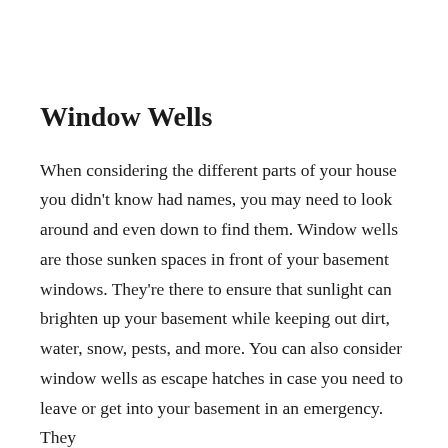Window Wells
When considering the different parts of your house you didn't know had names, you may need to look around and even down to find them. Window wells are those sunken spaces in front of your basement windows. They're there to ensure that sunlight can brighten up your basement while keeping out dirt, water, snow, pests, and more. You can also consider window wells as escape hatches in case you need to leave or get into your basement in an emergency. They